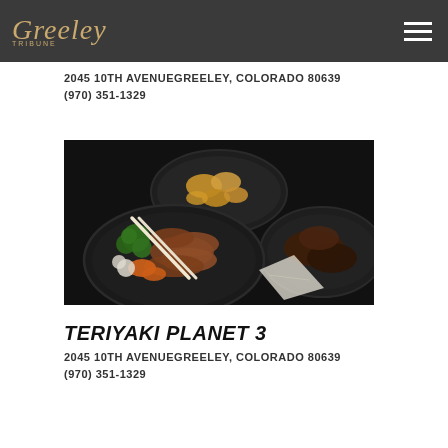Greeley
2045 10TH AVENUEGREELEY, COLORADO 80639
(970) 351-1329
[Figure (photo): Three black plastic bowls containing teriyaki dishes — one with sliced teriyaki meat, broccoli, carrots, cauliflower and chopsticks; one with fried/breaded pieces in the background; one with dark teriyaki meat on the right. White napkin/chopstick wrapper visible in center.]
TERIYAKI PLANET 3
2045 10TH AVENUEGREELEY, COLORADO 80639
(970) 351-1329